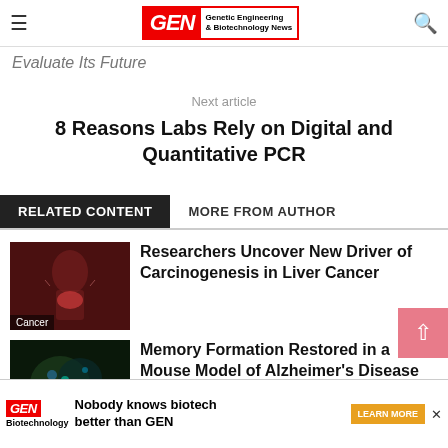GEN Genetic Engineering & Biotechnology News
Evaluate Its Future
Next article
8 Reasons Labs Rely on Digital and Quantitative PCR
RELATED CONTENT  MORE FROM AUTHOR
[Figure (photo): Medical illustration of human body highlighting liver, dark red background. Tag: Cancer]
Researchers Uncover New Driver of Carcinogenesis in Liver Cancer
[Figure (photo): Fluorescence microscopy image, dark green/teal background. Tag: Alzh]
Memory Formation Restored in a Mouse Model of Alzheimer's Disease
[Figure (other): GEN advertisement banner: Nobody knows biotech better than GEN. LEARN MORE button.]